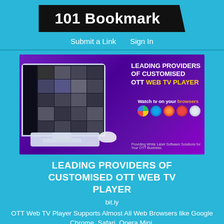101 Bookmark
Submit a Link    Sign In
[Figure (screenshot): Advertisement banner for OTT Web TV Player showing a monitor with streaming content, browser logos (Chrome, Edge, Firefox, Opera, Safari), and text 'LEADING PROVIDERS OF CUSTOMISED OTT WEB TV PLAYER. Watch tv on your browsers. Providing White Label Software Solutions for Your OTT Business.']
LEADING PROVIDERS OF CUSTOMISED OTT WEB TV PLAYER
bit.ly
OTT Web TV Player Supports Almost All Web Browsers like Google Chrome, Safari, Opera Mini,